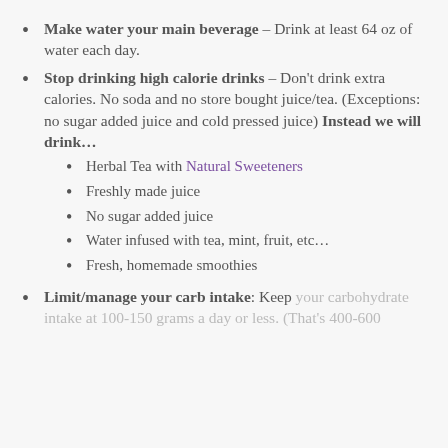Make water your main beverage – Drink at least 64 oz of water each day.
Stop drinking high calorie drinks – Don't drink extra calories. No soda and no store bought juice/tea. (Exceptions: no sugar added juice and cold pressed juice) Instead we will drink… [sub-items: Herbal Tea with Natural Sweeteners, Freshly made juice, No sugar added juice, Water infused with tea, mint, fruit, etc…, Fresh, homemade smoothies]
Limit/manage your carb intake: Keep your carbohydrate intake at 100-150 grams a day or less. (That's 400-600